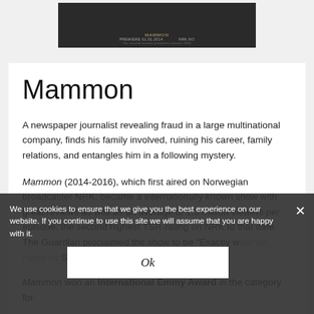[Figure (photo): Top banner image of the Mammon TV show cover, dark background with title text and premiere date information]
Mammon
A newspaper journalist revealing fraud in a large multinational company, finds his family involved, ruining his career, family relations, and entangles him in a following mystery.
Mammon (2014-2016), which first aired on Norwegian broadcaster NRK, became a internationally known show with great reviews as well as an average of 1.3 million viewers per episode, the second highest TSR-rating on NRK to that date. The Guardian proclaimed the show to be "Exactly what we mean by Scandinavian quality crime".
We use cookies to ensure that we give you the best experience on our website. If you continue to use this site we will assume that you are happy with it.
Ok
Mammon won an International Emmy Award in the category for